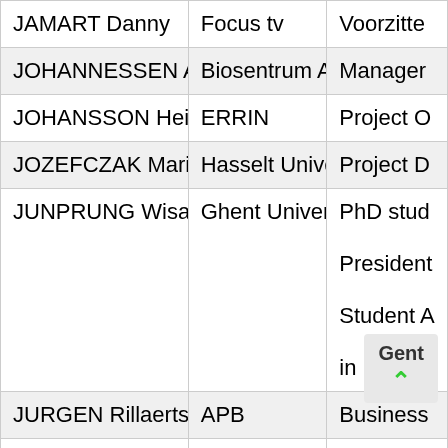| Name | Organization | Role |
| --- | --- | --- |
| JAMART Danny | Focus tv | Voorzitte… |
| JOHANNESSEN Arild | Biosentrum AS | Manager |
| JOHANSSON Heidi | ERRIN | Project O… |
| JOZEFCZAK Marijke | Hasselt University | Project D… |
| JUNPRUNG Wisarut | Ghent University | PhD stud…
President…
Student A…
in Belgiu… |
| JURGEN Rillaerts | APB | Business… |
| KALLE Leon | Cargill | Site Mana…
Gent |
| KERWYN-DELMOTTE Bi… | Flanders Innovation &… | Accountm… |